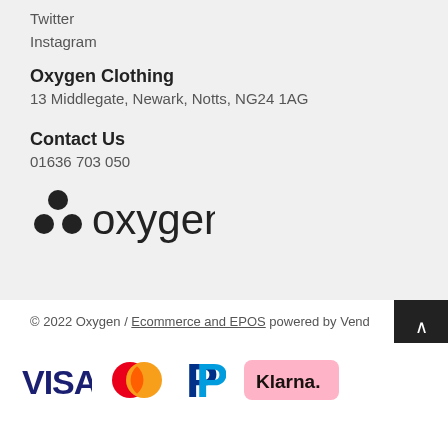Twitter
Instagram
Oxygen Clothing
13 Middlegate, Newark, Notts, NG24 1AG
Contact Us
01636 703 050
[Figure (logo): Oxygen clothing logo with three dots arranged in a triangle and the word 'oxygen' in dark text]
© 2022 Oxygen / Ecommerce and EPOS powered by Vend
[Figure (logo): Payment method logos: VISA, Mastercard, PayPal, Klarna]